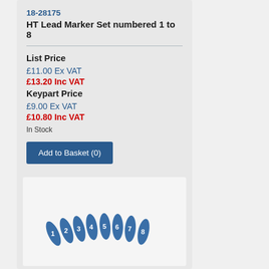18-28175
HT Lead Marker Set numbered 1 to 8
List Price
£11.00 Ex VAT
£13.20 Inc VAT
Keypart Price
£9.00 Ex VAT
£10.80 Inc VAT
In Stock
Add to Basket (0)
[Figure (photo): Photo of HT Lead Marker Set numbered 1 to 8 - small blue numbered plastic clips arranged in a row]